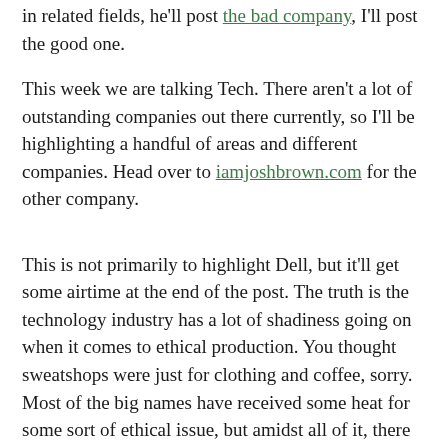in related fields, he'll post the bad company, I'll post the good one.
This week we are talking Tech. There aren't a lot of outstanding companies out there currently, so I'll be highlighting a handful of areas and different companies. Head over to iamjoshbrown.com for the other company.
This is not primarily to highlight Dell, but it'll get some airtime at the end of the post. The truth is the technology industry has a lot of shadiness going on when it comes to ethical production. You thought sweatshops were just for clothing and coffee, sorry. Most of the big names have received some heat for some sort of ethical issue, but amidst all of it, there are a few small companies that are branching out in the niche of "eco-friendly."